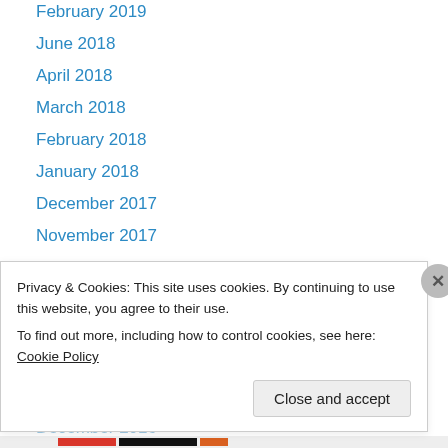February 2019
June 2018
April 2018
March 2018
February 2018
January 2018
December 2017
November 2017
October 2017
April 2017
March 2017
February 2017
January 2017
December 2016
Privacy & Cookies: This site uses cookies. By continuing to use this website, you agree to their use.
To find out more, including how to control cookies, see here: Cookie Policy